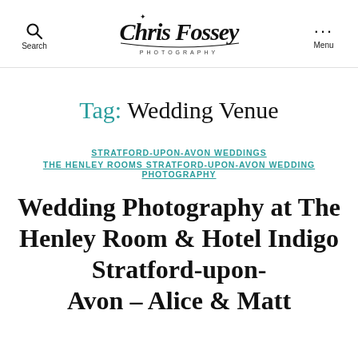Search | Chris Fossey Photography | Menu
Tag: Wedding Venue
STRATFORD-UPON-AVON WEDDINGS
THE HENLEY ROOMS STRATFORD-UPON-AVON WEDDING PHOTOGRAPHY
Wedding Photography at The Henley Room & Hotel Indigo Stratford-upon-Avon – Alice & Matt